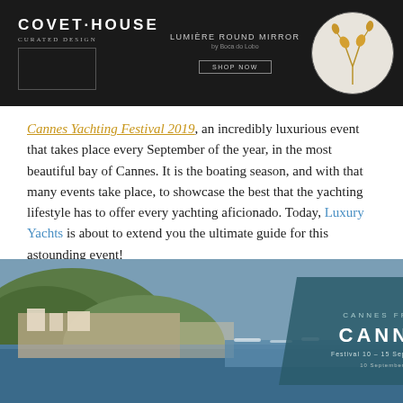[Figure (illustration): Covet House curated design banner with Lumiere Round Mirror by Boca do Lobo advertisement on dark background with a golden stem decoration in a circular frame]
Cannes Yachting Festival 2019, an incredibly luxurious event that takes place every September of the year, in the most beautiful bay of Cannes. It is the boating season, and with that many events take place, to showcase the best that the yachting lifestyle has to offer every yachting aficionado. Today, Luxury Yachts is about to extend you the ultimate guide for this astounding event!
[Figure (photo): Aerial view of Cannes harbor and bay with a teal/dark blue parallelogram overlay showing text CANNES FRANCE and CANNES]